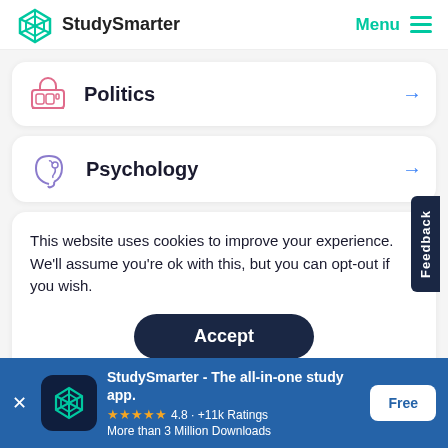StudySmarter | Menu
Politics
Psychology
This website uses cookies to improve your experience. We'll assume you're ok with this, but you can opt-out if you wish.
Accept
Feedback
StudySmarter - The all-in-one study app. ★★★★★ 4.8 · +11k Ratings More than 3 Million Downloads Free